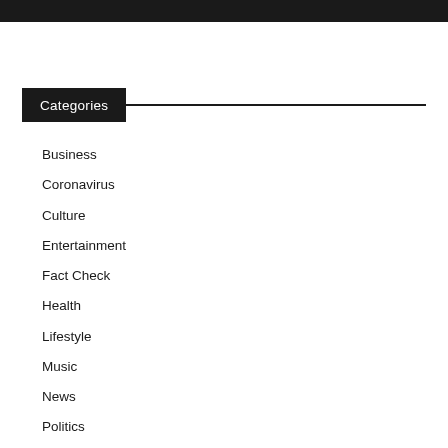Categories
Business
Coronavirus
Culture
Entertainment
Fact Check
Health
Lifestyle
Music
News
Politics
Religion